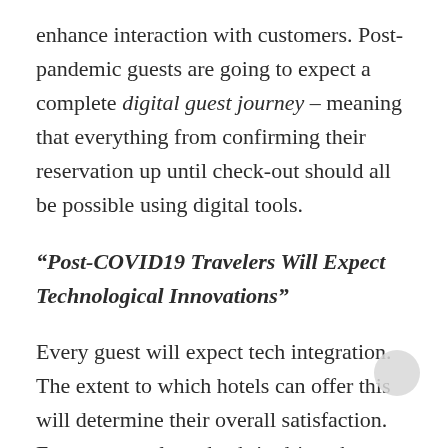enhance interaction with customers. Post-pandemic guests are going to expect a complete digital guest journey – meaning that everything from confirming their reservation up until check-out should all be possible using digital tools.
“Post-COVID19 Travelers Will Expect Technological Innovations”
Every guest will expect tech integration. The extent to which hotels can offer this will determine their overall satisfaction. Easy, contact-less check-in driven by technology is a must.
Hotels that only offer physical room keys, TV and